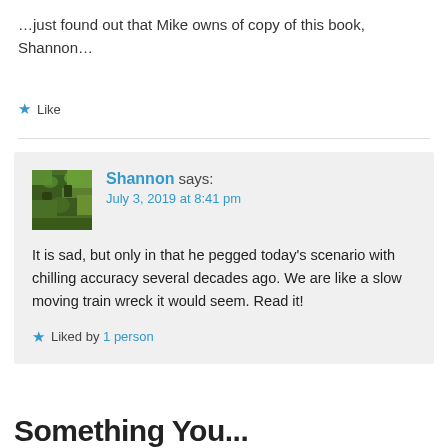…just found out that Mike owns of copy of this book, Shannon…
★ Like
Shannon says:
July 3, 2019 at 8:41 pm
It is sad, but only in that he pegged today's scenario with chilling accuracy several decades ago. We are like a slow moving train wreck it would seem. Read it!
★ Liked by 1 person
Something You...